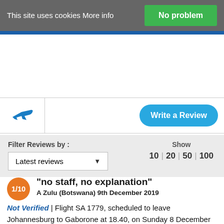This site uses cookies More info
No problem
[Figure (logo): Airline/travel website logo with blue plane icon]
Write a Review
Filter Reviews by :
Latest reviews
Show 10 | 20 | 50 | 100
1/10
"no staff, no explanation"
A Zulu (Botswana) 9th December 2019
Not Verified | Flight SA 1779, scheduled to leave Johannesburg to Gaborone at 18.40, on Sunday 8 December 2019. All of a